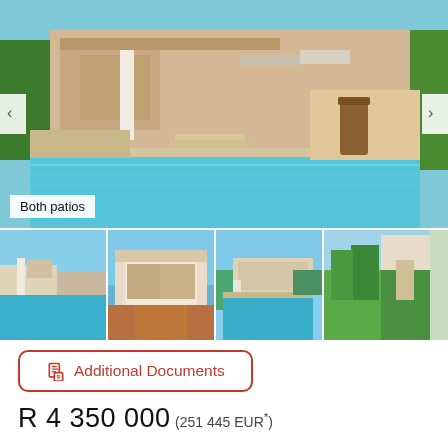[Figure (photo): Main photo of luxury house with pool and patio area]
Both patios
[Figure (photo): Four thumbnail photos of the property: patio with pool, garage/driveway, pool from outside, garden]
Additional Documents
R 4 350 000 (251 445 EUR*)
Bedrooms: 4
Bathrooms: 3.5
Garages: 2
Erf Size: ± 960 m²
Floor Size: ± 300m²
Rates: R 1 056.../m